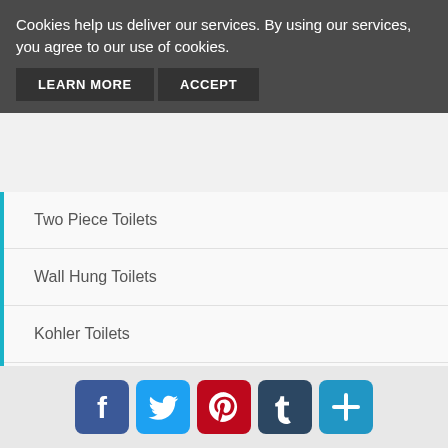Cookies help us deliver our services. By using our services, you agree to our use of cookies.
LEARN MORE
ACCEPT
Two Piece Toilets
Wall Hung Toilets
Kohler Toilets
Toto Toilets
Axent Toilets
Saniflo Toilets
BidetMate Toilets
Swiss Madison Toilets
[Figure (infographic): Social sharing icons: Facebook (blue), Twitter (light blue), Pinterest (red), Tumblr (dark blue), More/Plus (blue)]